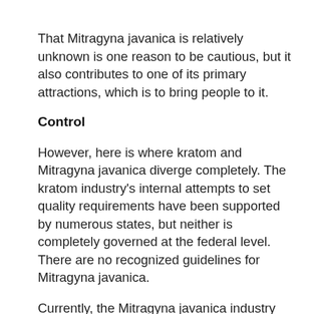That Mitragyna javanica is relatively unknown is one reason to be cautious, but it also contributes to one of its primary attractions, which is to bring people to it.
Control
However, here is where kratom and Mitragyna javanica diverge completely. The kratom industry's internal attempts to set quality requirements have been supported by numerous states, but neither is completely governed at the federal level. There are no recognized guidelines for Mitragyna javanica.
Currently, the Mitragyna javanica industry operates like the Wild West, with little oversight, little standardization, and less verification. In other words, although there are numerous well-established, respectable kratom dealers, there's no way to know